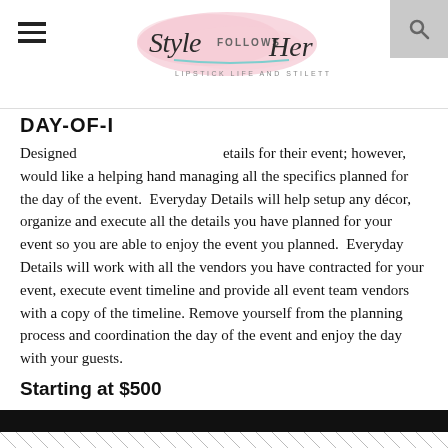Style Follows Her — Lipstick Life and Stilettos
DAY-OF-I
Designed ... etails for their event; however, would like a helping hand managing all the specifics planned for the day of the event.  Everyday Details will help setup any décor, organize and execute all the details you have planned for your event so you are able to enjoy the event you planned.  Everyday Details will work with all the vendors you have contracted for your event, execute event timeline and provide all event team vendors with a copy of the timeline. Remove yourself from the planning process and coordination the day of the event and enjoy the day with your guests.
Starting at $500